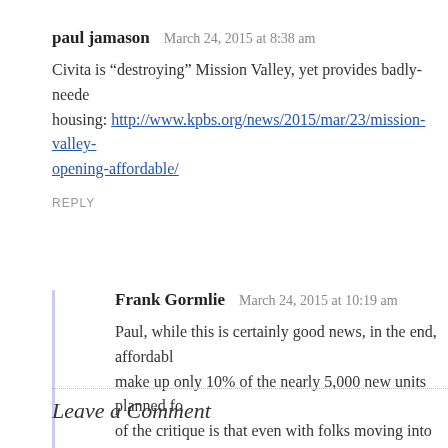paul jamason   March 24, 2015 at 8:38 am
Civita is “destroying” Mission Valley, yet provides badly-needed housing: http://www.kpbs.org/news/2015/mar/23/mission-valley-opening-affordable/
REPLY
Frank Gormlie   March 24, 2015 at 10:19 am
Paul, while this is certainly good news, in the end, affordable units make up only 10% of the nearly 5,000 new units planned fo... of the critique is that even with folks moving into affordable... infrastructure (libraries, fire stations, rec centers, schools, et...
REPLY
Leave a Comment